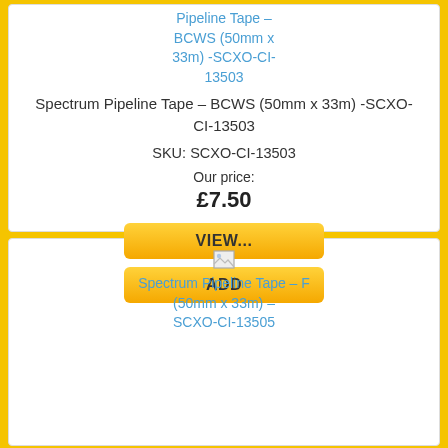Pipeline Tape – BCWS (50mm x 33m) -SCXO-CI-13503
Spectrum Pipeline Tape – BCWS (50mm x 33m) -SCXO-CI-13503
SKU: SCXO-CI-13503
Our price:
£7.50
VIEW...
ADD
[Figure (other): Broken image placeholder for Spectrum Pipeline Tape – F (50mm x 33m) – SCXO-CI-13505]
Spectrum Pipeline Tape – F (50mm x 33m) – SCXO-CI-13505